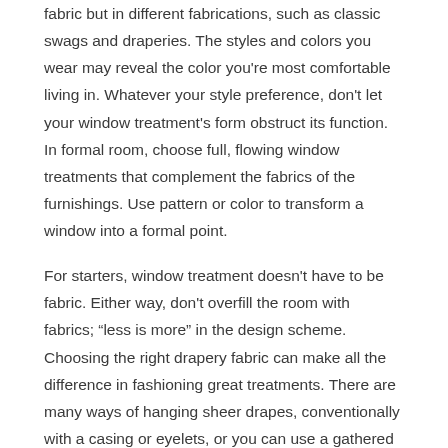fabric but in different fabrications, such as classic swags and draperies. The styles and colors you wear may reveal the color you're most comfortable living in. Whatever your style preference, don't let your window treatment's form obstruct its function. In formal room, choose full, flowing window treatments that complement the fabrics of the furnishings. Use pattern or color to transform a window into a formal point.
For starters, window treatment doesn't have to be fabric. Either way, don't overfill the room with fabrics; “less is more” in the design scheme. Choosing the right drapery fabric can make all the difference in fashioning great treatments. There are many ways of hanging sheer drapes, conventionally with a casing or eyelets, or you can use a gathered heading tape with a track or pole. Tall windows in high-ceiling room are perfect candidates for classic drapery and valance treatments.
So before you choose a window covering, consider the way your